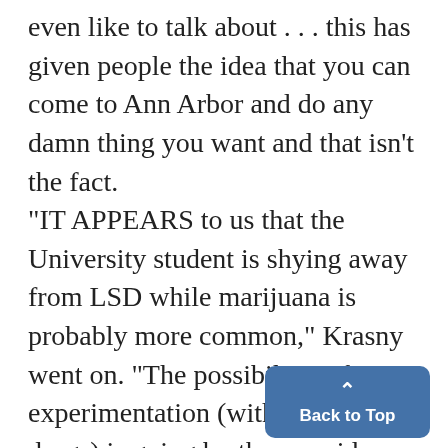even like to talk about . . . this has given people the idea that you can come to Ann Arbor and do any damn thing you want and that isn't the fact. "IT APPEARS to us that the University student is shying away from LSD while marijuana is probably more common," Krasny went on. "The possibil-ity of experimentation (with ! hard drugs) is going by the wayside because they (student see their friends who got